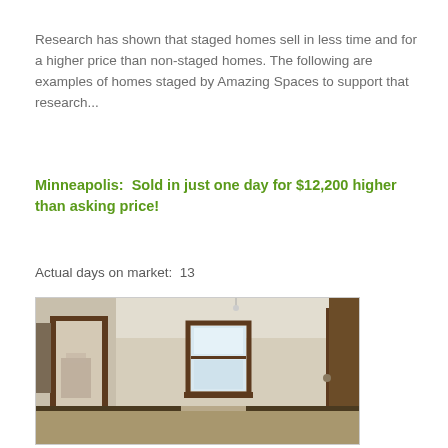Research has shown that staged homes sell in less time and for a higher price than non-staged homes. The following are examples of homes staged by Amazing Spaces to support that research...
Minneapolis:  Sold in just one day for $12,200 higher than asking price!
Actual days on market:  13
[Figure (photo): Interior photo of an empty staged room with wooden door frames, a window with natural light, and neutral beige walls. The room appears unfurnished.]